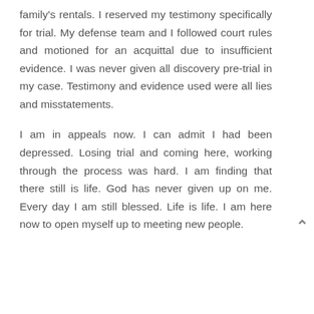family's rentals. I reserved my testimony specifically for trial. My defense team and I followed court rules and motioned for an acquittal due to insufficient evidence. I was never given all discovery pre-trial in my case. Testimony and evidence used were all lies and misstatements.
I am in appeals now. I can admit I had been depressed. Losing trial and coming here, working through the process was hard. I am finding that there still is life. God has never given up on me. Every day I am still blessed. Life is life. I am here now to open myself up to meeting new people.